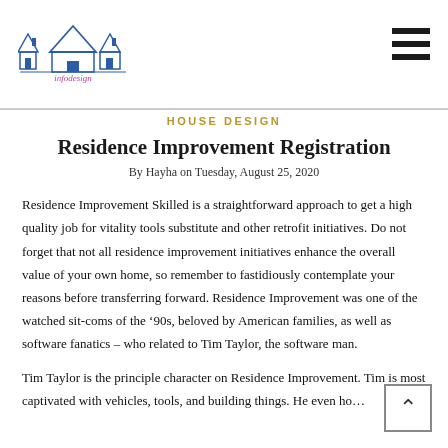infodesign logo and navigation
HOUSE DESIGN
Residence Improvement Registration
By Hayha on Tuesday, August 25, 2020
Residence Improvement Skilled is a straightforward approach to get a high quality job for vitality tools substitute and other retrofit initiatives. Do not forget that not all residence improvement initiatives enhance the overall value of your own home, so remember to fastidiously contemplate your reasons before transferring forward. Residence Improvement was one of the watched sit-coms of the ‘90s, beloved by American families, as well as software fanatics – who related to Tim Taylor, the software man.
Tim Taylor is the principle character on Residence Improvement. Tim is most captivated with vehicles, tools, and building things. He even ho... TV show known as Software. Tim co-hosting which became the...